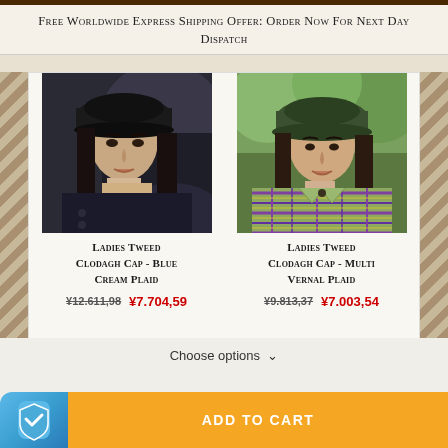Free Worldwide Express Shipping Offer: Order Now For Next Day Dispatch
[Figure (photo): Woman wearing a black tweed Clodagh cap, seated in a car, dark clothing, long dark hair]
[Figure (photo): Woman wearing a green tweed Clodagh cap, wearing a colorful tartan/plaid jacket, outdoor background]
Ladies Tweed Clodagh Cap - Blue Cream Plaid
¥12.611,98  ¥7.704,59
Ladies Tweed Clodagh Cap - Multi Vernal Plaid
¥9.813,37  ¥7.003,54
Choose options ∨
ADD TO CART